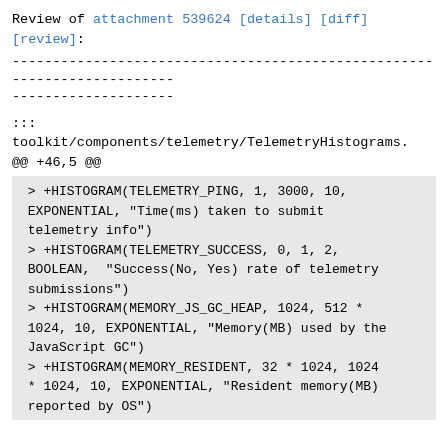Review of attachment 539624 [details] [diff] [review]:
------------------------------------------------------------------------
--------------------
:::
toolkit/components/telemetry/TelemetryHistograms.
@@ +46,5 @@
> +HISTOGRAM(TELEMETRY_PING, 1, 3000, 10, EXPONENTIAL, "Time(ms) taken to submit telemetry info")
> +HISTOGRAM(TELEMETRY_SUCCESS, 0, 1, 2, BOOLEAN,  "Success(No, Yes) rate of telemetry submissions")
> +HISTOGRAM(MEMORY_JS_GC_HEAP, 1024, 512 * 1024, 10, EXPONENTIAL, "Memory(MB) used by the JavaScript GC")
> +HISTOGRAM(MEMORY_RESIDENT, 32 * 1024, 1024 * 1024, 10, EXPONENTIAL, "Resident memory(MB) reported by OS")